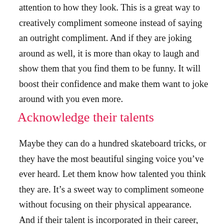attention to how they look. This is a great way to creatively compliment someone instead of saying an outright compliment. And if they are joking around as well, it is more than okay to laugh and show them that you find them to be funny. It will boost their confidence and make them want to joke around with you even more.
Acknowledge their talents
Maybe they can do a hundred skateboard tricks, or they have the most beautiful singing voice you’ve ever heard. Let them know how talented you think they are. It’s a sweet way to compliment someone without focusing on their physical appearance. And if their talent is incorporated in their career, you’ll be able to boost their confidence in that topic as well, making this a win-win situation.